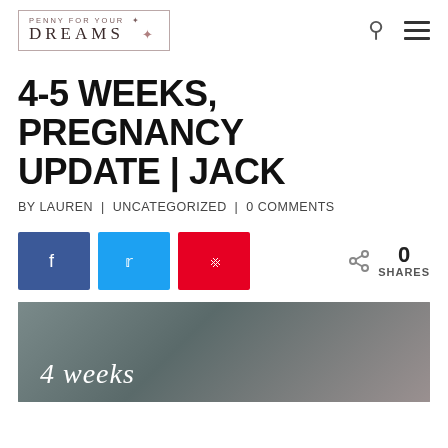PENNY FOR YOUR DREAMS
4-5 WEEKS, PREGNANCY UPDATE | JACK
BY LAUREN | UNCATEGORIZED | 0 COMMENTS
[Figure (infographic): Social share buttons: Facebook (blue), Twitter (cyan), Pinterest (red), and a share count showing 0 SHARES]
[Figure (photo): Preview image with text '4 weeks' overlaid in white italic script, showing a partially visible person]